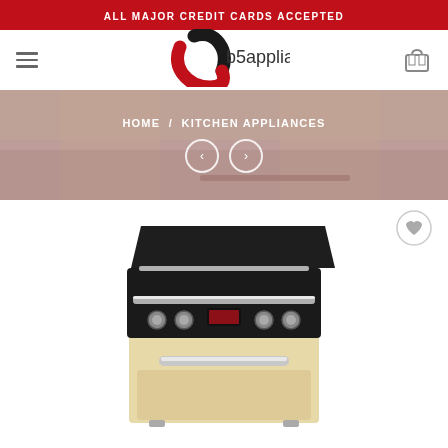ALL MAJOR CREDIT CARDS ACCEPTED
[Figure (logo): b5appliance logo with circular red and black swoosh design]
HOME / KITCHEN APPLIANCES
[Figure (photo): Kitchen appliance range cooker product photo showing a cream/beige colored range cooker with black top, chrome knobs, digital display, and chrome handles]